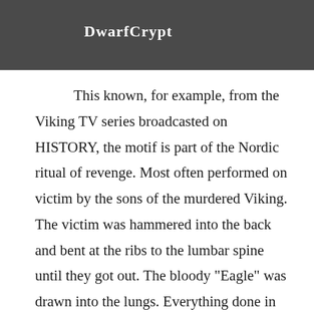DwarfCrypt
This known, for example, from the Viking TV series broadcasted on HISTORY, the motif is part of the Nordic ritual of revenge. Most often performed on victim by the sons of the murdered Viking. The victim was hammered into the back and bent at the ribs to the lumbar spine until they got out. The bloody "Eagle" was drawn into the lungs. Everything done in such a way that the victim was conscious and lived in the longest possible time of this peculiar ceremony.